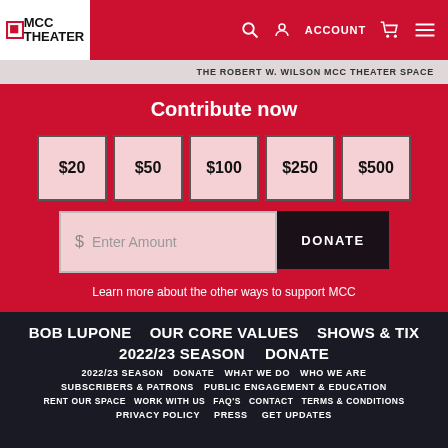MCC THEATER
THE ROBERT W. WILSON MCC THEATER SPACE
Contribute now
$20  $50  $100  $250  $500
$ Enter Amount  DONATE
Learn more about the other ways to support MCC
BOB LUPONE   OUR CORE VALUES   SHOWS & TIX
2022/23 SEASON   DONATE
2022/23 SEASON   DONATE   WHAT WE DO   WHO WE ARE
SUBSCRIBERS & PATRONS   PUBLIC ENGAGEMENT & EDUCATION
RENT OUR SPACE   WORK WITH US   FAQ'S   CONTACT   TERMS & CONDITIONS
PRIVACY POLICY   PRESS   GET UPDATES